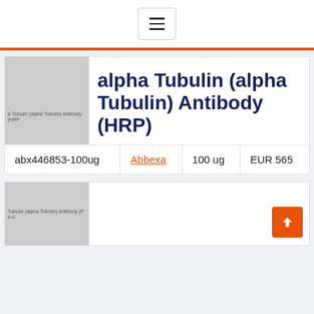[Figure (screenshot): Navigation hamburger menu button icon with three horizontal lines]
alpha Tubulin (alpha Tubulin) Antibody (HRP)
|  | Supplier | Size | Price |
| --- | --- | --- | --- |
| abx446853-100ug | Abbexa | 100 ug | EUR 565 |
[Figure (screenshot): Partial second product card with grey image placeholder showing text label]